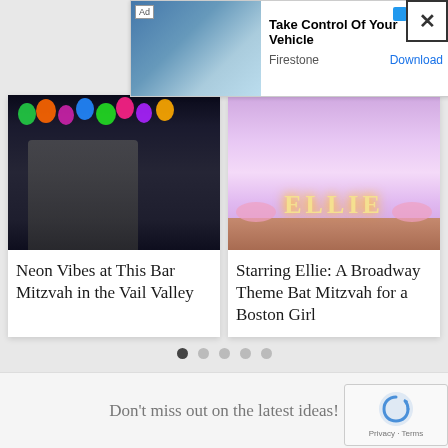[Figure (screenshot): Advertisement banner: Take Control Of Your Vehicle - Firestone - Download button]
[Figure (photo): Family group photo at a Bar Mitzvah with neon/colorful balloon decorations in background]
Neon Vibes at This Bar Mitzvah in the Vail Valley
[Figure (photo): Broadway themed Bat Mitzvah decoration showing illuminated ELLIE letters on a table with pink decor]
Starring Ellie: A Broadway Theme Bat Mitzvah for a Boston Girl
Don't miss out on the latest ideas!